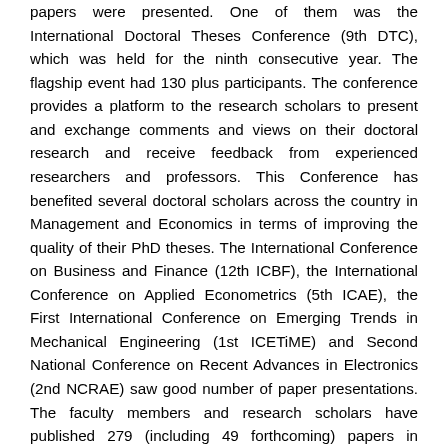papers were presented. One of them was the International Doctoral Theses Conference (9th DTC), which was held for the ninth consecutive year. The flagship event had 130 plus participants. The conference provides a platform to the research scholars to present and exchange comments and views on their doctoral research and receive feedback from experienced researchers and professors. This Conference has benefited several doctoral scholars across the country in Management and Economics in terms of improving the quality of their PhD theses. The International Conference on Business and Finance (12th ICBF), the International Conference on Applied Econometrics (5th ICAE), the First International Conference on Emerging Trends in Mechanical Engineering (1st ICETiME) and Second National Conference on Recent Advances in Electronics (2nd NCRAE) saw good number of paper presentations. The faculty members and research scholars have published 279 (including 49 forthcoming) papers in reputed journals, of which 24 (including 1 forthcoming) are in A*/A journals listed in Australian Business Deans Council, 189 (including 25 forthcoming) in journals listed in Scopus, and 21 (including 6 forthcoming) in Web of Science. The abstracts of some of the research